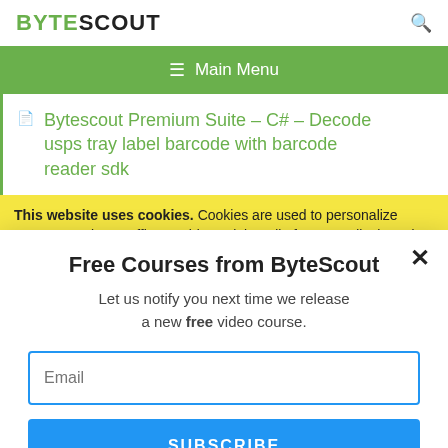BYTESCOUT
≡  Main Menu
Bytescout Premium Suite – C# – Decode usps tray label barcode with barcode reader sdk
This website uses cookies. Cookies are used to personalize content, analyze traffic, provide social media features, display ads. We also share
Free Courses from ByteScout
Let us notify you next time we release a new free video course.
Email
SUBSCRIBE